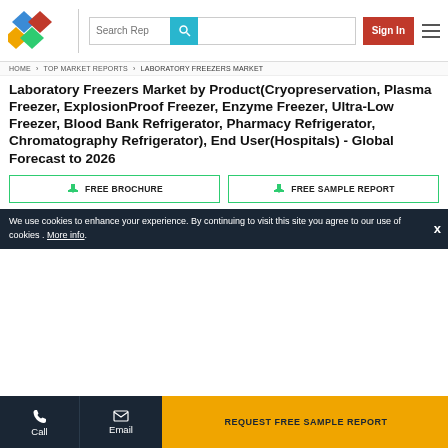Logo | Search Rep | Sign In | Menu
HOME › TOP MARKET REPORTS › LABORATORY FREEZERS MARKET
Laboratory Freezers Market by Product(Cryopreservation, Plasma Freezer, ExplosionProof Freezer, Enzyme Freezer, Ultra-Low Freezer, Blood Bank Refrigerator, Pharmacy Refrigerator, Chromatography Refrigerator), End User(Hospitals) - Global Forecast to 2026
FREE BROCHURE
FREE SAMPLE REPORT
We use cookies to enhance your experience. By continuing to visit this site you agree to our use of cookies . More info.
Call | Email | REQUEST FREE SAMPLE REPORT